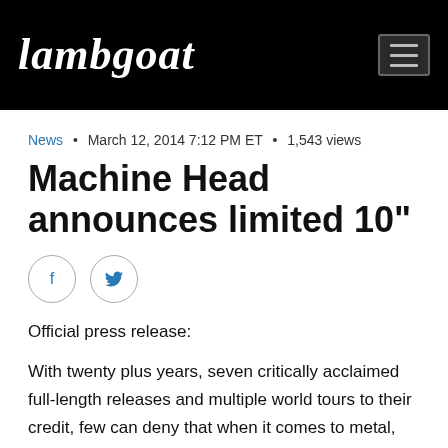Lambgoat
News • March 12, 2014 7:12 PM ET • 1,543 views
Machine Head announces limited 10"
[Figure (other): Social share icons: Facebook and Twitter circles]
Official press release:
With twenty plus years, seven critically acclaimed full-length releases and multiple world tours to their credit, few can deny that when it comes to metal, Machine Head